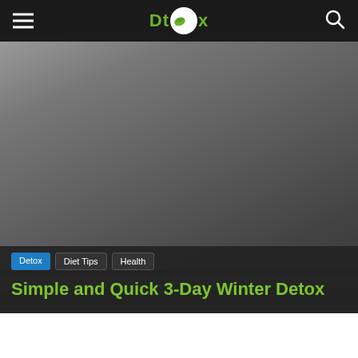Dtox [logo] — navigation bar with menu and search icons
[Figure (photo): Dark gray hero/banner image background for the article header]
Detox | Diet Tips | Health
Simple and Quick 3-Day Winter Detox